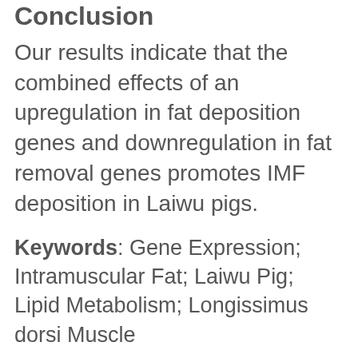Conclusion
Our results indicate that the combined effects of an upregulation in fat deposition genes and downregulation in fat removal genes promotes IMF deposition in Laiwu pigs.
Keywords: Gene Expression; Intramuscular Fat; Laiwu Pig; Lipid Metabolism; Longissimus dorsi Muscle
INTRODUCTION